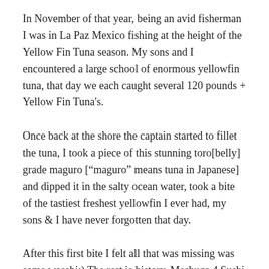In November of that year, being an avid fisherman I was in La Paz Mexico fishing at the height of the Yellow Fin Tuna season. My sons and I encountered a large school of enormous yellowfin tuna, that day we each caught several 120 pounds + Yellow Fin Tuna's.
Once back at the shore the captain started to fillet the tuna, I took a piece of this stunning toro[belly] grade maguro ["maguro" means tuna in Japanese] and dipped it in the salty ocean water, took a bite of the tastiest freshest yellowfin I ever had, my sons & I have never forgotten that day.
After this first bite I felt all that was missing was some wasabi:) The rest is history, Meshuga 4 Sushi opened its doors in 2011 and fresh sushi is the centerpiece of my daily mission.